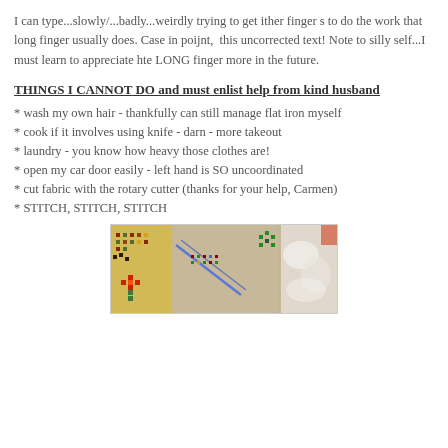I can type...slowly/...badly...weirdly trying to get ither finger s to do the work that long finger usually does. Case in poijnt,  this uncorrected text! Note to silly self...I must learn to appreciate hte LONG finger more in the future.
THINGS I CANNOT DO and must enlist help from kind husband
* wash my own hair - thankfully can still manage flat iron myself
* cook if it involves using knife - darn - more takeout
* laundry - you know how heavy those clothes are!
* open my car door easily - left hand is SO uncoordinated
* cut fabric with the rotary cutter (thanks for your help, Carmen)
* STITCH, STITCH, STITCH
[Figure (photo): Close-up photo of cross-stitch needlework showing colorful embroidery patterns on canvas fabric with various colored threads in reds, greens, yellows, and blues on a beige/cream background.]